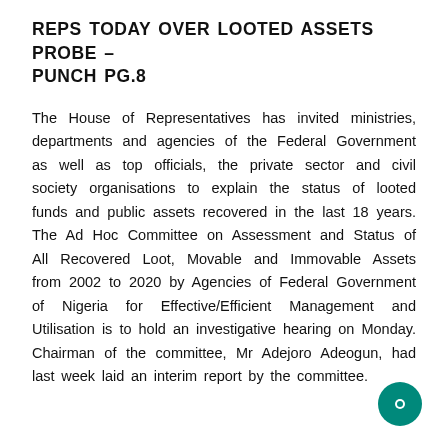REPS TODAY OVER LOOTED ASSETS PROBE – PUNCH PG.8
The House of Representatives has invited ministries, departments and agencies of the Federal Government as well as top officials, the private sector and civil society organisations to explain the status of looted funds and public assets recovered in the last 18 years. The Ad Hoc Committee on Assessment and Status of All Recovered Loot, Movable and Immovable Assets from 2002 to 2020 by Agencies of Federal Government of Nigeria for Effective/Efficient Management and Utilisation is to hold an investigative hearing on Monday. Chairman of the committee, Mr Adejoro Adeogun, had last week laid an interim report by the committee.